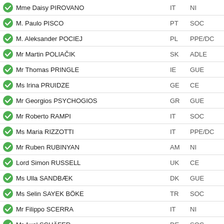Mme Daisy PIROVANO | IT | NI
M. Paulo PISCO | PT | SOC
M. Aleksander POCIEJ | PL | PPE/DC
Mr Martin POLIAČIK | SK | ADLE
Mr Thomas PRINGLE | IE | GUE
Ms Irina PRUIDZE | GE | CE
Mr Georgios PSYCHOGIOS | GR | GUE
Mr Roberto RAMPI | IT | SOC
Ms Maria RIZZOTTI | IT | PPE/DC
Mr Ruben RUBINYAN | AM | NI
Lord Simon RUSSELL | UK | CE
Ms Ulla SANDBÆK | DK | GUE
Ms Selin SAYEK BÖKE | TR | SOC
Mr Filippo SCERRA | IT | NI
Mr Axel SCHÄFER | DE | SOC
Ms Ingjerd SCHOU | NO | PPE/DC
Mr Frank SCHWABE | DE | SOC